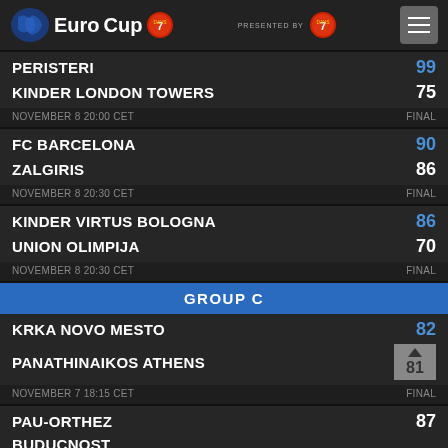[Figure (logo): EuroCup 7DAYS logo with menu button and presented by 7DAYS badge]
| Team | Score |
| --- | --- |
| PERISTERI | 99 |
| KINDER LONDON TOWERS | 75 |
| NOVEMBER 8 20:00 CET | FINAL |
| Team | Score |
| --- | --- |
| FC BARCELONA | 90 |
| ZALGIRIS | 86 |
| NOVEMBER 8 20:30 CET | FINAL |
| Team | Score |
| --- | --- |
| KINDER VIRTUS BOLOGNA | 86 |
| UNION OLIMPIJA | 70 |
| NOVEMBER 8 20:30 CET | FINAL |
GROUP C
| Team | Score |
| --- | --- |
| KRKA NOVO MESTO | 82 |
| PANATHINAIKOS ATHENS | 81 |
| NOVEMBER 7 18:15 CET | FINAL |
| Team | Score |
| --- | --- |
| PAU-ORTHEZ | 87 |
| BUDUCNOST |  |